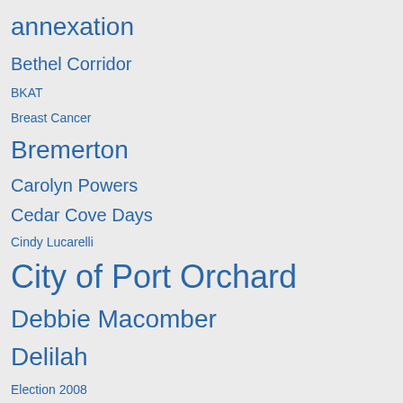annexation
Bethel Corridor
BKAT
Breast Cancer
Bremerton
Carolyn Powers
Cedar Cove Days
Cindy Lucarelli
City of Port Orchard
Debbie Macomber
Delilah
Election 2008
Election 2009